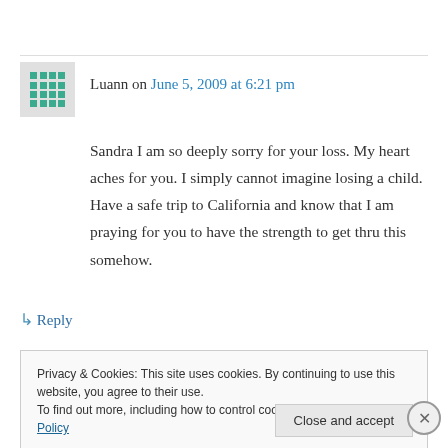Luann on June 5, 2009 at 6:21 pm
Sandra I am so deeply sorry for your loss. My heart aches for you. I simply cannot imagine losing a child. Have a safe trip to California and know that I am praying for you to have the strength to get thru this somehow.
↳ Reply
Privacy & Cookies: This site uses cookies. By continuing to use this website, you agree to their use. To find out more, including how to control cookies, see here: Cookie Policy